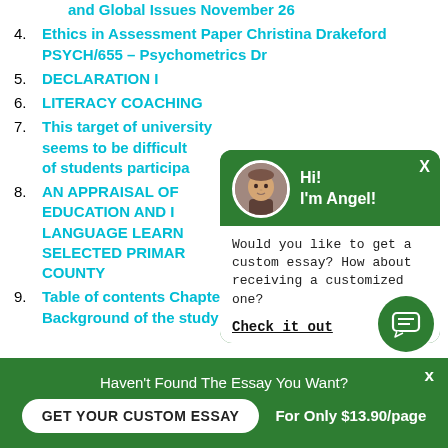and Global Issues November 26
Ethics in Assessment Paper Christina Drakeford PSYCH/655 – Psychometrics Dr
DECLARATION I
LITERACY COACHING
This target of univer... seems to be difficult... of students participa...
AN APPRAISAL OF EDUCATION AND I LANGUAGE LEARN SELECTED PRIMAR COUNTY
Table of contents Chapter 1 INTRODUCTION Background of the study The Statement of the
[Figure (other): Chat popup with avatar photo of man, green header saying Hi! I'm Angel!, white body with text: Would you like to get a custom essay? How about receiving a customized one? Check it out link]
[Figure (other): Green circular message/chat bubble icon in bottom right]
Haven't Found The Essay You Want?
GET YOUR CUSTOM ESSAY
For Only $13.90/page